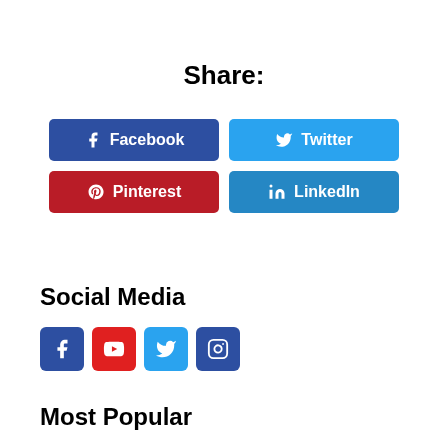Share:
[Figure (infographic): Share buttons for Facebook, Twitter, Pinterest, and LinkedIn social media platforms]
Social Media
[Figure (infographic): Social media icon buttons for Facebook, YouTube, Twitter, and Instagram]
Most Popular